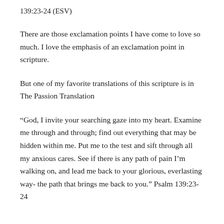139:23-24 (ESV)
There are those exclamation points I have come to love so much. I love the emphasis of an exclamation point in scripture.
But one of my favorite translations of this scripture is in The Passion Translation
“God, I invite your searching gaze into my heart. Examine me through and through; find out everything that may be hidden within me. Put me to the test and sift through all my anxious cares. See if there is any path of pain I’m walking on, and lead me back to your glorious, everlasting way- the path that brings me back to you.” Psalm 139:23-24